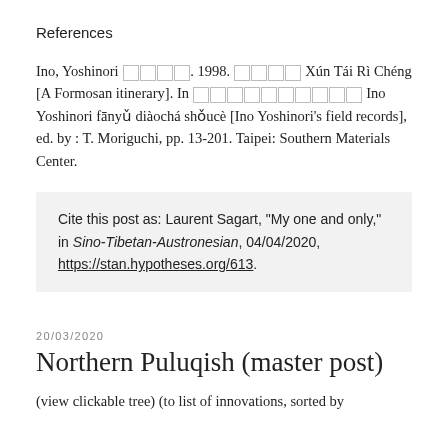References
Ino, Yoshinori [CJK chars]. 1998. [CJK chars] Xún Tái Rì Chéng [A Formosan itinerary]. In [CJK chars] Ino Yoshinori fānyǔ diàochá shǒucè [Ino Yoshinori's field records], ed. by : T. Moriguchi, pp. 13-201. Taipei: Southern Materials Center.
Cite this post as: Laurent Sagart, "My one and only," in Sino-Tibetan-Austronesian, 04/04/2020, https://stan.hypotheses.org/613.
20/03/2020
Northern Puluqish (master post)
(view clickable tree) (to list of innovations, sorted by